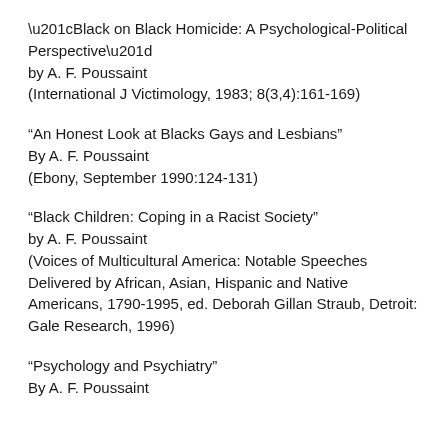“Black on Black Homicide: A Psychological-Political Perspective” by A. F. Poussaint (International J Victimology, 1983; 8(3,4):161-169)
“An Honest Look at Blacks Gays and Lesbians” By A. F. Poussaint (Ebony, September 1990:124-131)
“Black Children: Coping in a Racist Society” by A. F. Poussaint (Voices of Multicultural America: Notable Speeches Delivered by African, Asian, Hispanic and Native Americans, 1790-1995, ed. Deborah Gillan Straub, Detroit: Gale Research, 1996)
“Psychology and Psychiatry” By A. F. Poussaint